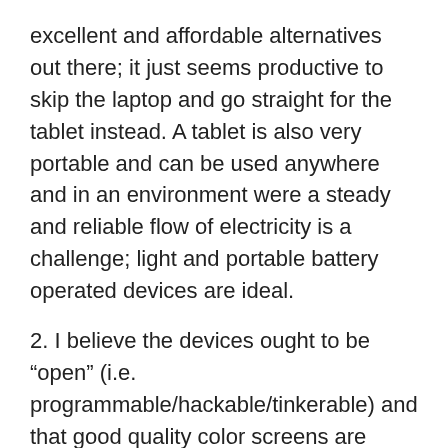excellent and affordable alternatives out there; it just seems productive to skip the laptop and go straight for the tablet instead. A tablet is also very portable and can be used anywhere and in an environment were a steady and reliable flow of electricity is a challenge; light and portable battery operated devices are ideal.
2. I believe the devices ought to be “open” (i.e. programmable/hackable/tinkerable) and that good quality color screens are important. As such I think Android is a great OS for this purpose, with many affordable options in its stable.
3. As a classroom model, consider giving tablets to share rather than one to each child; this could more opportunities for collaboration and teaching via peers rather than a figure of authority (i.e., teacher). Unlike a